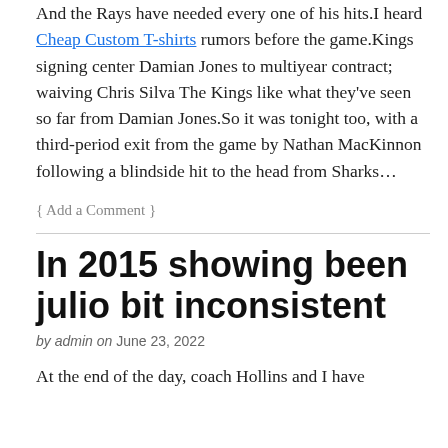And the Rays have needed every one of his hits.I heard Cheap Custom T-shirts rumors before the game.Kings signing center Damian Jones to multiyear contract; waiving Chris Silva The Kings like what they've seen so far from Damian Jones.So it was tonight too, with a third-period exit from the game by Nathan MacKinnon following a blindside hit to the head from Sharks…
{ Add a Comment }
In 2015 showing been julio bit inconsistent
by admin on June 23, 2022
At the end of the day, coach Hollins and I have